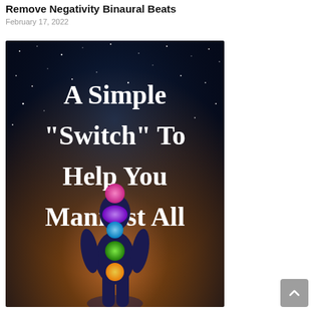Remove Negativity Binaural Beats
February 17, 2022
[Figure (illustration): Promotional image with dark starry night sky background with warm orange glow at the bottom. White bold text reads 'A Simple "Switch" To Help You Manifest All'. In the lower portion, a silhouette of a human figure with colorful chakra symbols: pink at the top of the head, purple at the throat/upper chest, light blue/teal at the throat, green in the chest area, and orange/yellow at the lower abdomen.]